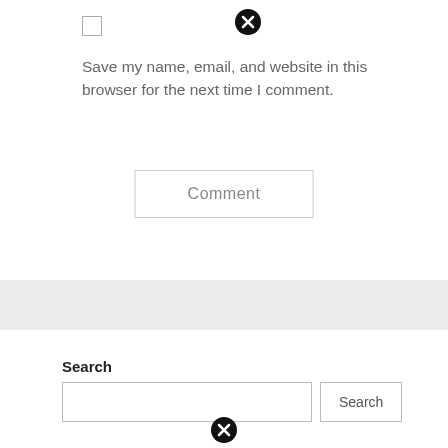[Figure (screenshot): Checkbox (unchecked) and a close/cancel icon (X in circle) at the top]
Save my name, email, and website in this browser for the next time I comment.
Comment
Search
[Figure (screenshot): Search input field with a Search button]
[Figure (screenshot): Close/cancel icon (X in circle) at the bottom]